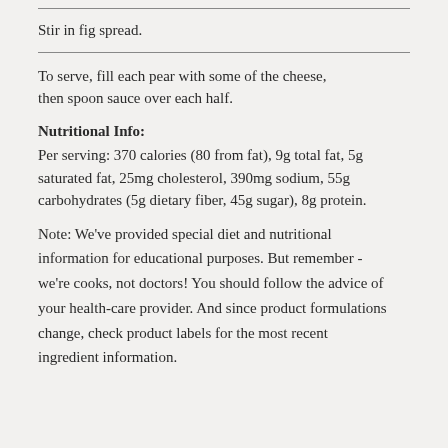Stir in fig spread.
To serve, fill each pear with some of the cheese, then spoon sauce over each half.
Nutritional Info:
Per serving: 370 calories (80 from fat), 9g total fat, 5g saturated fat, 25mg cholesterol, 390mg sodium, 55g carbohydrates (5g dietary fiber, 45g sugar), 8g protein.
Note: We've provided special diet and nutritional information for educational purposes. But remember - we're cooks, not doctors! You should follow the advice of your health-care provider. And since product formulations change, check product labels for the most recent ingredient information.